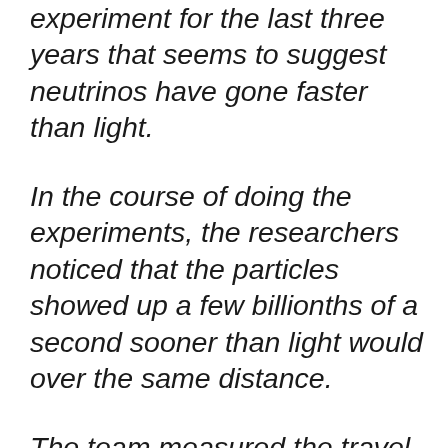experiment for the last three years that seems to suggest neutrinos have gone faster than light.
In the course of doing the experiments, the researchers noticed that the particles showed up a few billionths of a second sooner than light would over the same distance.
The team measured the travel times of neutrino bunches some 15,000 times, and have reached